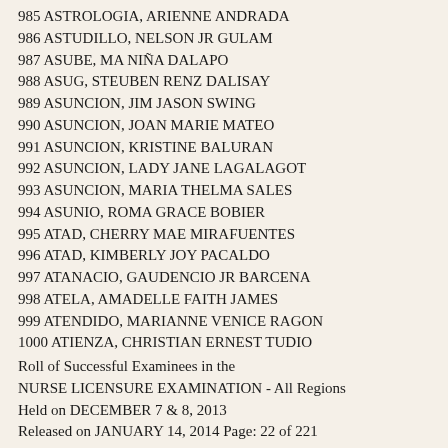985 ASTROLOGIA, ARIENNE ANDRADA
986 ASTUDILLO, NELSON JR GULAM
987 ASUBE, MA NIÑA DALAPO
988 ASUG, STEUBEN RENZ DALISAY
989 ASUNCION, JIM JASON SWING
990 ASUNCION, JOAN MARIE MATEO
991 ASUNCION, KRISTINE BALURAN
992 ASUNCION, LADY JANE LAGALAGOT
993 ASUNCION, MARIA THELMA SALES
994 ASUNIO, ROMA GRACE BOBIER
995 ATAD, CHERRY MAE MIRAFUENTES
996 ATAD, KIMBERLY JOY PACALDO
997 ATANACIO, GAUDENCIO JR BARCENA
998 ATELA, AMADELLE FAITH JAMES
999 ATENDIDO, MARIANNE VENICE RAGON
1000 ATIENZA, CHRISTIAN ERNEST TUDIO
Roll of Successful Examinees in the
NURSE LICENSURE EXAMINATION - All Regions
Held on DECEMBER 7 & 8, 2013
Released on JANUARY 14, 2014 Page: 22 of 221
Seq. No. N a m e
1001 ATIENZA, JED HAROLD PEÑALBA